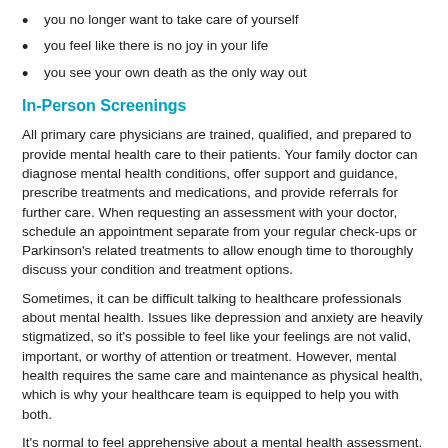you no longer want to take care of yourself
you feel like there is no joy in your life
you see your own death as the only way out
In-Person Screenings
All primary care physicians are trained, qualified, and prepared to provide mental health care to their patients. Your family doctor can diagnose mental health conditions, offer support and guidance, prescribe treatments and medications, and provide referrals for further care. When requesting an assessment with your doctor, schedule an appointment separate from your regular check-ups or Parkinson's related treatments to allow enough time to thoroughly discuss your condition and treatment options.
Sometimes, it can be difficult talking to healthcare professionals about mental health. Issues like depression and anxiety are heavily stigmatized, so it's possible to feel like your feelings are not valid, important, or worthy of attention or treatment. However, mental health requires the same care and maintenance as physical health, which is why your healthcare team is equipped to help you with both.
It's normal to feel apprehensive about a mental health assessment. An important step in preparing to ask for support is working to understand your negative thoughts and feelings. Consider talking to a counsellor or therapist to explore your challenges and potential treatment or therapy options, or use online asessment tools (see below). If you would like to pursue pharmaceutical interventions or brain